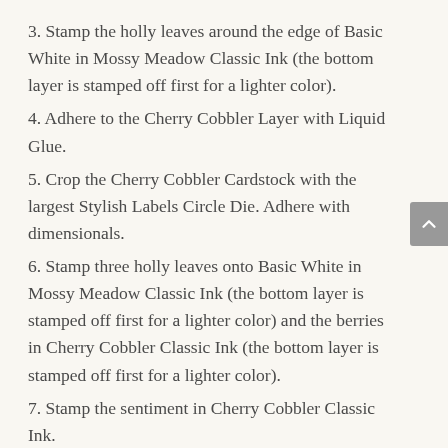3. Stamp the holly leaves around the edge of Basic White in Mossy Meadow Classic Ink (the bottom layer is stamped off first for a lighter color).
4. Adhere to the Cherry Cobbler Layer with Liquid Glue.
5. Crop the Cherry Cobbler Cardstock with the largest Stylish Labels Circle Die. Adhere with dimensionals.
6. Stamp three holly leaves onto Basic White in Mossy Meadow Classic Ink (the bottom layer is stamped off first for a lighter color) and the berries in Cherry Cobbler Classic Ink (the bottom layer is stamped off first for a lighter color).
7. Stamp the sentiment in Cherry Cobbler Classic Ink.